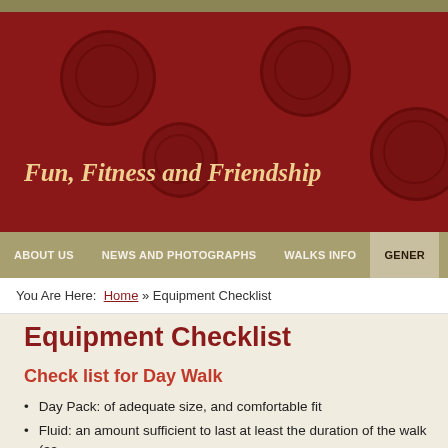Fun, Fitness and Friendship
ABOUT US | NEWS AND PHOTOGRAPHS | WALKS INFO | GENER...
You Are Here: Home » Equipment Checklist
Equipment Checklist
Check list for Day Walk
Day Pack: of adequate size, and comfortable fit
Fluid: an amount sufficient to last at least the duration of the walk (as the walk)
Food: lunch plus high energy snacks plus some reserve
Wet weather gear: Waterproof coat and over-pants